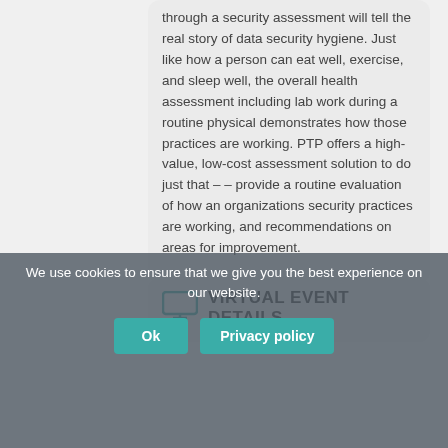through a security assessment will tell the real story of data security hygiene. Just like how a person can eat well, exercise, and sleep well, the overall health assessment including lab work during a routine physical demonstrates how those practices are working. PTP offers a high-value, low-cost assessment solution to do just that – – provide a routine evaluation of how an organizations security practices are working, and recommendations on areas for improvement.
VIRTUAL EVENT DETAILS
Event has already taken place!
We use cookies to ensure that we give you the best experience on our website.